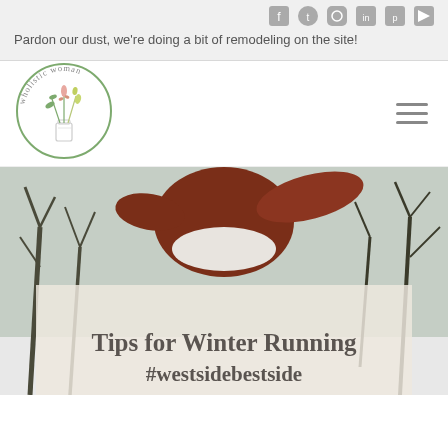Pardon our dust, we're doing a bit of remodeling on the site!
[Figure (logo): Wholistic Woman circular logo with botanical illustration of flowers and a mason jar, sage green circle border with text 'wholistic woman' around the top]
[Figure (photo): Outdoor winter photo of a woman with red/auburn hair blowing in wind, wearing white hat, snowy trees in background]
Tips for Winter Running #westsidebestside